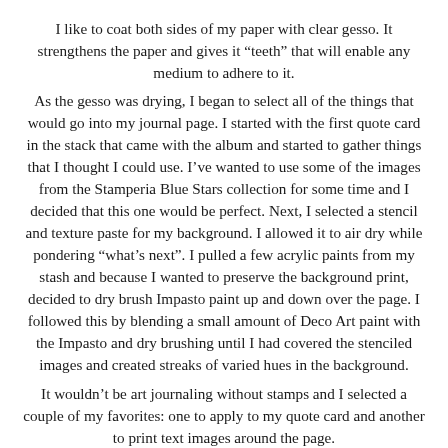I like to coat both sides of my paper with clear gesso. It strengthens the paper and gives it “teeth” that will enable any medium to adhere to it. As the gesso was drying, I began to select all of the things that would go into my journal page. I started with the first quote card in the stack that came with the album and started to gather things that I thought I could use. I’ve wanted to use some of the images from the Stamperia Blue Stars collection for some time and I decided that this one would be perfect. Next, I selected a stencil and texture paste for my background. I allowed it to air dry while pondering “what’s next”. I pulled a few acrylic paints from my stash and because I wanted to preserve the background print, decided to dry brush Impasto paint up and down over the page. I followed this by blending a small amount of Deco Art paint with the Impasto and dry brushing until I had covered the stenciled images and created streaks of varied hues in the background. It wouldn’t be art journaling without stamps and I selected a couple of my favorites: one to apply to my quote card and another to print text images around the page. I used matte medium to adhere my components to the page,